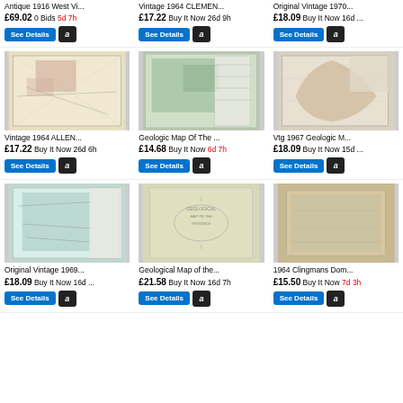Antique 1916 West Vi... £69.02 0 Bids 5d 7h
Vintage 1964 CLEMEN... £17.22 Buy It Now 26d 9h
Original Vintage 1970... £18.09 Buy It Now 16d ...
[Figure (photo): Vintage 1964 ALLEN map folded]
Vintage 1964 ALLEN... £17.22 Buy It Now 26d 6h
[Figure (photo): Geologic Map Of The folded]
Geologic Map Of The ... £14.68 Buy It Now 6d 7h
[Figure (photo): Vtg 1967 Geologic M map]
Vtg 1967 Geologic M... £18.09 Buy It Now 15d ...
[Figure (photo): Original Vintage 1969 map]
Original Vintage 1969... £18.09 Buy It Now 16d ...
[Figure (photo): Geological Map of the booklet]
Geological Map of the... £21.58 Buy It Now 16d 7h
[Figure (photo): 1964 Clingmans Dom map]
1964 Clingmans Dom... £15.50 Buy It Now 7d 3h